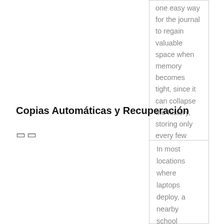one easy way for the journal to regain valuable space when memory becomes tight, since it can collapse the history, storing only every few automatic revisions in addition to those explicitly kept by the child.
Copias Automáticas y Recuperación
[Figure (other): Two small square icon symbols resembling checkboxes or grid icons]
In most locations where laptops deploy, a nearby school equipped with a server will provide additional functionality when children brings their laptops within range. This server has one major implication for the Journal: backup. Due to limited storage space on the laptops, children will have to choose to erase older entries to make way for new ones. The automated backup system will ensure that, even once their creations leave their own laptops, they will remain available on the school server. This process will happen in the background, fully automatically, anytime the child comes within range and bandwidth allows. Her Journal